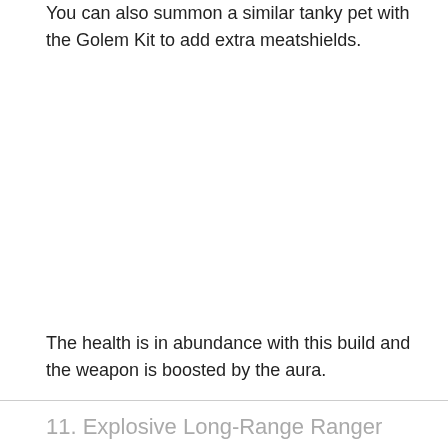You can also summon a similar tanky pet with the Golem Kit to add extra meatshields.
The health is in abundance with this build and the weapon is boosted by the aura.
11. Explosive Long-Range Ranger